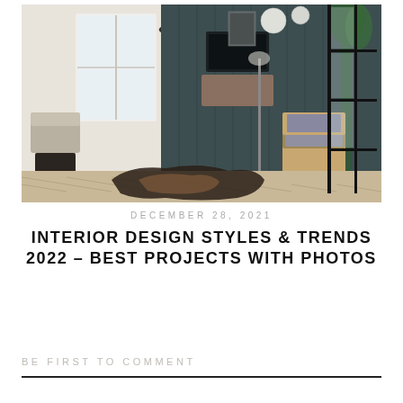[Figure (photo): Interior design photo showing a modern living room with herringbone parquet floor, dark teal paneled wall, wooden armchair with grey cushions, cowhide rug, pendant globe lights, and black steel-framed glass partition]
DECEMBER 28, 2021
INTERIOR DESIGN STYLES & TRENDS 2022 – BEST PROJECTS WITH PHOTOS
BE FIRST TO COMMENT